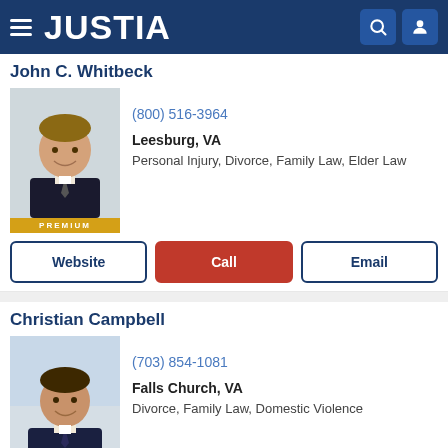JUSTIA
John C. Whitbeck
[Figure (photo): Professional headshot of John C. Whitbeck, male attorney in dark suit, smiling, with PREMIUM badge]
(800) 516-3964
Leesburg, VA
Personal Injury, Divorce, Family Law, Elder Law
Christian Campbell
[Figure (photo): Professional headshot of Christian Campbell, male attorney in dark suit, smiling, with PREMIUM badge]
(703) 854-1081
Falls Church, VA
Divorce, Family Law, Domestic Violence